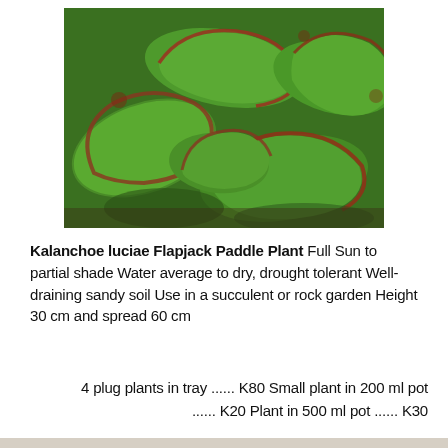[Figure (photo): Close-up photograph of Kalanchoe luciae (Flapjack Paddle Plant) showing large, flat, paddle-shaped succulent leaves with green centers and reddish-purple edges/margins, growing densely together.]
Kalanchoe luciae Flapjack Paddle Plant Full Sun to partial shade Water average to dry, drought tolerant Well-draining sandy soil Use in a succulent or rock garden Height 30 cm and spread 60 cm
4 plug plants in tray ...... K80 Small plant in 200 ml pot ...... K20 Plant in 500 ml pot ...... K30